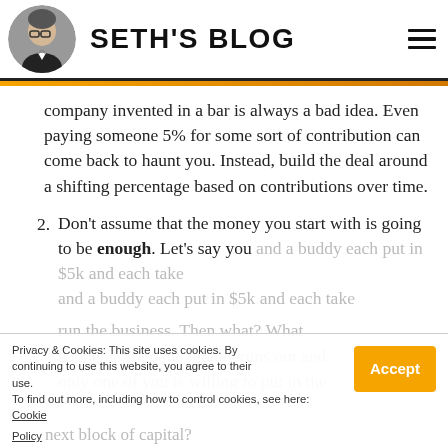SETH'S BLOG
company invented in a bar is always a bad idea. Even paying someone 5% for some sort of contribution can come back to haunt you. Instead, build the deal around a shifting percentage based on contributions over time.
2. Don't assume that the money you start with is going to be enough. Let's say you and a buddy each put in $5k and each take half the business. Then what? What happens when the money runs out and only one of you is willing to put in the next block of capital?
Privacy & Cookies: This site uses cookies. By continuing to use this website, you agree to their use. To find out more, including how to control cookies, see here: Cookie Policy